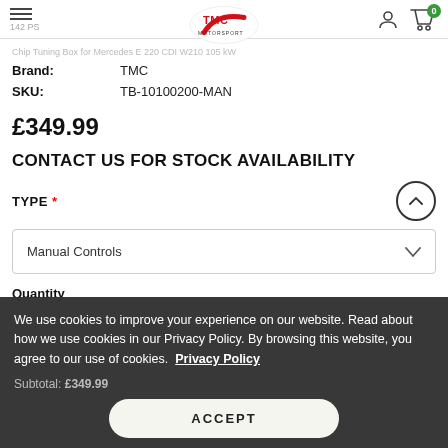Chip Tuning Box for Mercedes E 220 CDI W210 105 kW 142 PS — TMC Motorsport
Brand: TMC
SKU: TB-10100200-MAN
£349.99
CONTACT US FOR STOCK AVAILABILITY
TYPE *
Manual Controls
Quantity
We use cookies to improve your experience on our website. Read about how we use cookies in our Privacy Policy. By browsing this website, you agree to our use of cookies. Privacy Policy
Subtotal: £349.99
ACCEPT